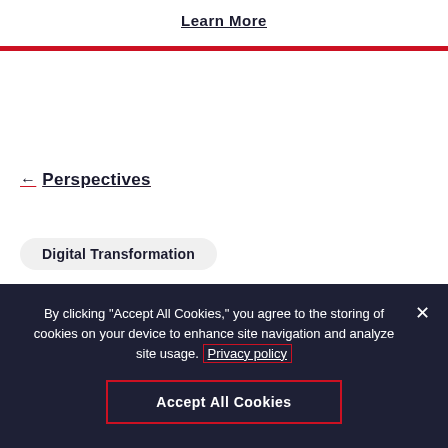Learn More
← Perspectives
Digital Transformation
By clicking "Accept All Cookies," you agree to the storing of cookies on your device to enhance site navigation and analyze site usage. Privacy policy
Accept All Cookies